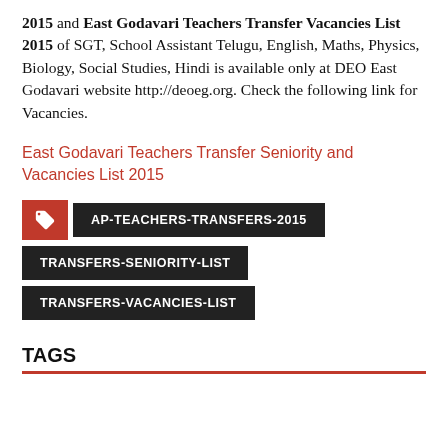2015 and East Godavari Teachers Transfer Vacancies List 2015 of SGT, School Assistant Telugu, English, Maths, Physics, Biology, Social Studies, Hindi is available only at DEO East Godavari website http://deoeg.org. Check the following link for Vacancies.
East Godavari Teachers Transfer Seniority and Vacancies List 2015
AP-TEACHERS-TRANSFERS-2015
TRANSFERS-SENIORITY-LIST
TRANSFERS-VACANCIES-LIST
TAGS